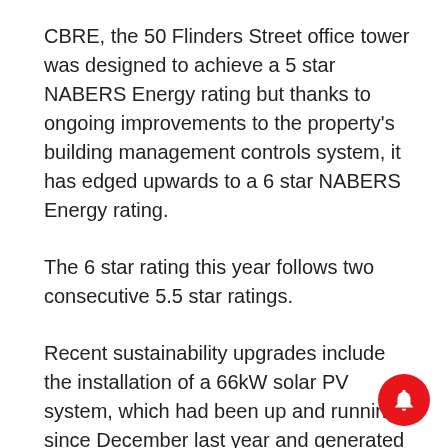CBRE, the 50 Flinders Street office tower was designed to achieve a 5 star NABERS Energy rating but thanks to ongoing improvements to the property's building management controls system, it has edged upwards to a 6 star NABERS Energy rating.
The 6 star rating this year follows two consecutive 5.5 star ratings.
Recent sustainability upgrades include the installation of a 66kW solar PV system, which had been up and running since December last year and generated around 40,000kWh of electricity since it was installed.